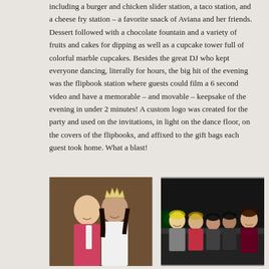including a burger and chicken slider station, a taco station, and a cheese fry station – a favorite snack of Aviana and her friends. Dessert followed with a chocolate fountain and a variety of fruits and cakes for dipping as well as a cupcake tower full of colorful marble cupcakes. Besides the great DJ who kept everyone dancing, literally for hours, the big hit of the evening was the flipbook station where guests could film a 6 second video and have a memorable – and movable – keepsake of the evening in under 2 minutes! A custom logo was created for the party and used on the invitations, in light on the dance floor, on the covers of the flipbooks, and affixed to the gift bags each guest took home. What a blast!
[Figure (photo): A young man in a pink shirt and white tie posing with a young woman wearing a tiara and white dress, likely at a quinceañera or formal party.]
[Figure (photo): A group of young people, including girls in red and white dresses and a young man, seated inside what appears to be a limousine, smiling at the camera.]